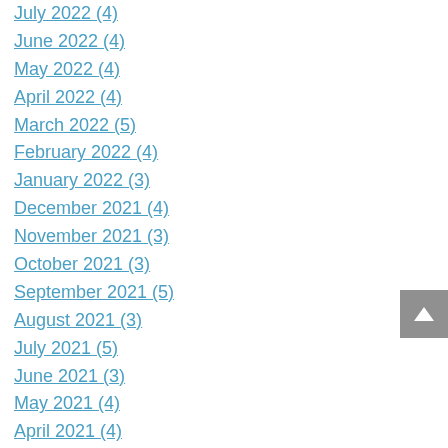July 2022 (4)
June 2022 (4)
May 2022 (4)
April 2022 (4)
March 2022 (5)
February 2022 (4)
January 2022 (3)
December 2021 (4)
November 2021 (3)
October 2021 (3)
September 2021 (5)
August 2021 (3)
July 2021 (5)
June 2021 (3)
May 2021 (4)
April 2021 (4)
March 2021 (4)
February 2021 (3)
January 2021 (5)